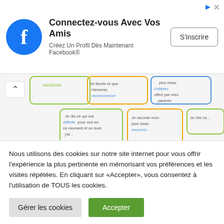[Figure (screenshot): Facebook ad banner with logo, title 'Connectez-vous Avec Vos Amis', subtitle 'Créez Un Profil Dès Maintenant Facebook®', and 'S'inscrire' button]
[Figure (photo): Partial view of educational cards with French text about family communication and emotions, partially cut off]
[Communication émotionnelle et relationnelle en famille] 18 cartes pour renforcer l'intimité et le sentiment de
Nous utilisons des cookies sur notre site internet pour vous offrir l'expérience la plus pertinente en mémorisant vos préférences et les visites répétées. En cliquant sur «Accepter», vous consentez à l'utilisation de TOUS les cookies.
Gérer les cookies  Accepter